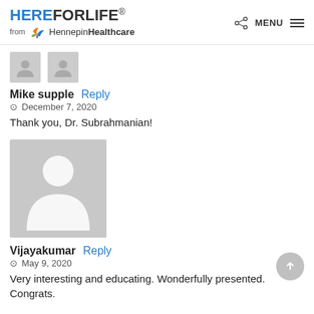HEREFORLIFE. from Hennepin Healthcare | MENU
[Figure (photo): Two small gray placeholder avatar thumbnails side by side]
Mike supple Reply
© December 7, 2020
Thank you, Dr. Subrahmanian!
[Figure (photo): Large gray placeholder avatar with silhouette person icon]
Vijayakumar Reply
© May 9, 2020
Very interesting and educating. Wonderfully presented. Congrats.
Translate »